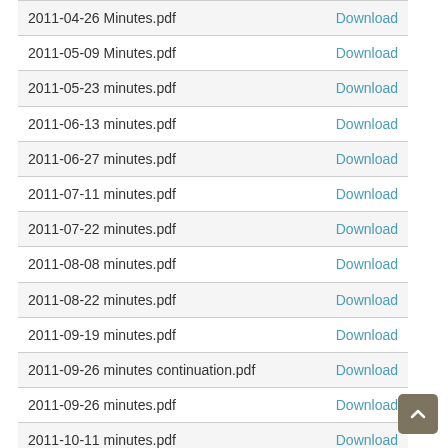| Filename | Action |
| --- | --- |
| 2011-04-26 Minutes.pdf | Download |
| 2011-05-09 Minutes.pdf | Download |
| 2011-05-23 minutes.pdf | Download |
| 2011-06-13 minutes.pdf | Download |
| 2011-06-27 minutes.pdf | Download |
| 2011-07-11 minutes.pdf | Download |
| 2011-07-22 minutes.pdf | Download |
| 2011-08-08 minutes.pdf | Download |
| 2011-08-22 minutes.pdf | Download |
| 2011-09-19 minutes.pdf | Download |
| 2011-09-26 minutes continuation.pdf | Download |
| 2011-09-26 minutes.pdf | Download |
| 2011-10-11 minutes.pdf | Download |
| 2011-10-24 minutes.pdf | Download |